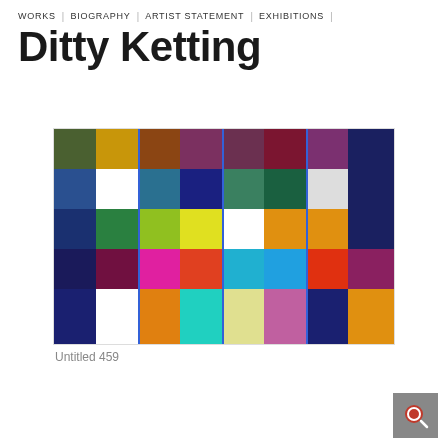WORKS | BIOGRAPHY | ARTIST STATEMENT | EXHIBITIONS
Ditty Ketting
[Figure (illustration): Colorful grid artwork with vibrant squares in many colors including blue, yellow, orange, green, magenta, teal, red, purple, brown, white arranged in a plaid-like pattern with thin blue vertical lines]
Untitled 459